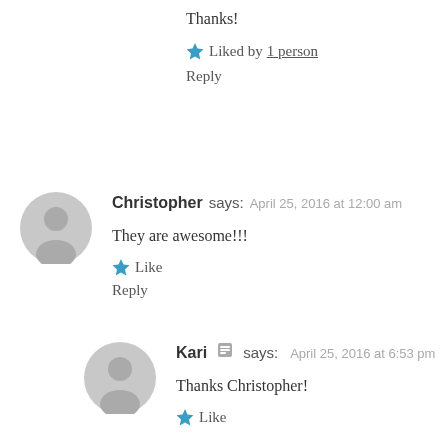Thanks!
★ Liked by 1 person
Reply
Christopher says:  April 25, 2016 at 12:00 am
They are awesome!!!
★ Like
Reply
Kari [admin] says:  April 25, 2016 at 6:53 pm
Thanks Christopher!
★ Like